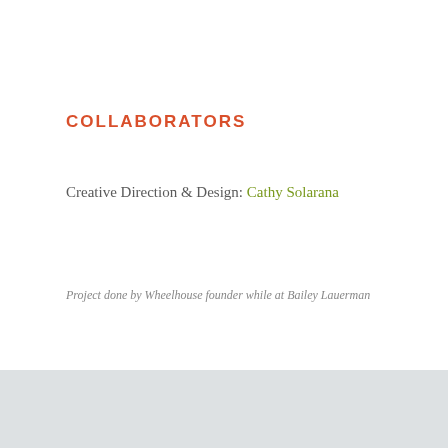COLLABORATORS
Creative Direction & Design: Cathy Solarana
Project done by Wheelhouse founder while at Bailey Lauerman